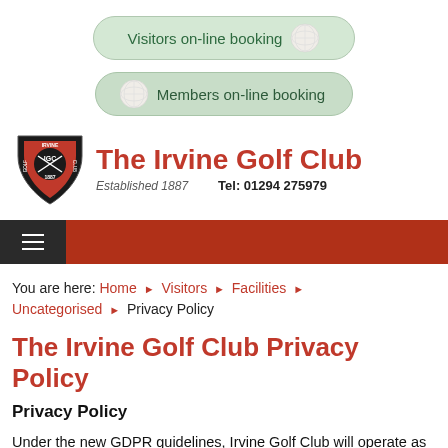[Figure (illustration): Visitors on-line booking button with golf ball icon on green rounded rectangle background]
[Figure (illustration): Members on-line booking button with golf ball icon on green rounded rectangle background]
[Figure (logo): The Irvine Golf Club shield logo with crossed golf clubs, established 1887]
The Irvine Golf Club
Established 1887    Tel: 01294 275979
[Figure (other): Red navigation bar with hamburger menu icon]
You are here: Home > Visitors > Facilities > Uncategorised > Privacy Policy
The Irvine Golf Club Privacy Policy
Privacy Policy
Under the new GDPR guidelines, Irvine Golf Club will operate as a data controller when dealing with Members and their personal information.